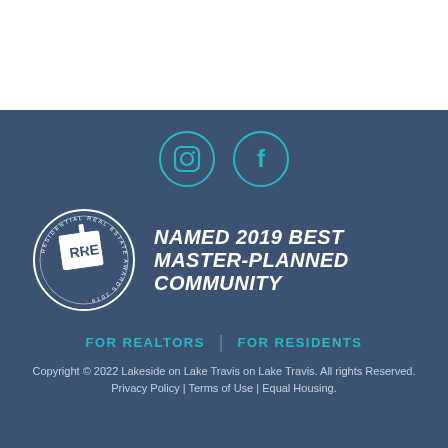[Figure (logo): Instagram and Facebook social media icon circles in teal outline on dark blue background]
[Figure (logo): RRE Residential Real Estate Awards 2019 badge with pencil and text 'Named 2019 Best Master-Planned Community']
FOR REALTORS | FOR RESIDENTS
Copyright © 2022 Lakeside on Lake Travis on Lake Travis. All rights Reserved. Privacy Policy | Terms of Use | Equal Housing.